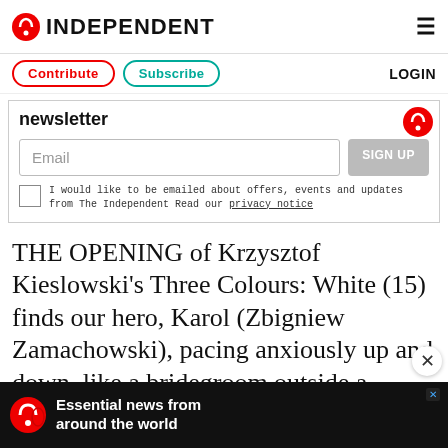INDEPENDENT
Contribute  Subscribe  LOGIN
newsletter
Email  SIGN UP
I would like to be emailed about offers, events and updates from The Independent Read our privacy notice
THE OPENING of Krzysztof Kieslowski's Three Colours: White (15) finds our hero, Karol (Zbigniew Zamachowski), pacing anxiously up and down, like a bridegroom outside a church. He's actually outside a law court - a husband awaiting a divorce, which his wife (Julie Delpy
Essential news from around the world